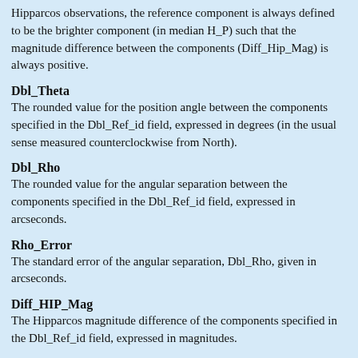Hipparcos observations, the reference component is always defined to be the brighter component (in median H_P) such that the magnitude difference between the components (Diff_Hip_Mag) is always positive.
Dbl_Theta
The rounded value for the position angle between the components specified in the Dbl_Ref_id field, expressed in degrees (in the usual sense measured counterclockwise from North).
Dbl_Rho
The rounded value for the angular separation between the components specified in the Dbl_Ref_id field, expressed in arcseconds.
Rho_Error
The standard error of the angular separation, Dbl_Rho, given in arcseconds.
Diff_HIP_Mag
The Hipparcos magnitude difference of the components specified in the Dbl_Ref_id field, expressed in magnitudes.
Dhip_Mag_Error
The standard error of the Hipparcos magnitude difference, expressed in magnitudes.